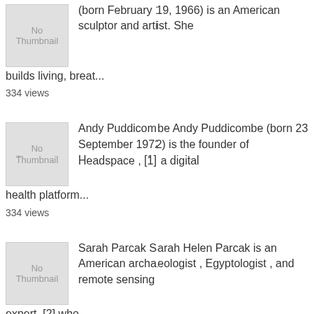[Figure (other): No Thumbnail placeholder image for first entry]
(born February 19, 1966) is an American sculptor and artist. She builds living, breat...
334 views
[Figure (other): No Thumbnail placeholder image for Andy Puddicombe entry]
Andy Puddicombe Andy Puddicombe (born 23 September 1972) is the founder of Headspace , [1] a digital health platform...
334 views
[Figure (other): No Thumbnail placeholder image for Sarah Parcak entry]
Sarah Parcak Sarah Helen Parcak is an American archaeologist , Egyptologist , and remote sensing expert, [2] who...
332 views
[Figure (other): No Thumbnail placeholder image for al Seckel entry]
al Seckel Alfred Paul "Al" Seckel